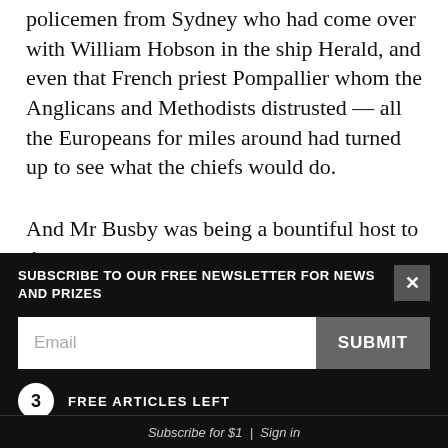policemen from Sydney who had come over with William Hobson in the ship Herald, and even that French priest Pompallier whom the Anglicans and Methodists distrusted — all the Europeans for miles around had turned up to see what the chiefs would do.
And Mr Busby was being a bountiful host to them.
New to NZGeo? We're a family-owned media company focusing on New Zealand's society and
SUBSCRIBE TO OUR FREE NEWSLETTER FOR NEWS AND PRIZES
Email
SUBMIT
3 FREE ARTICLES LEFT